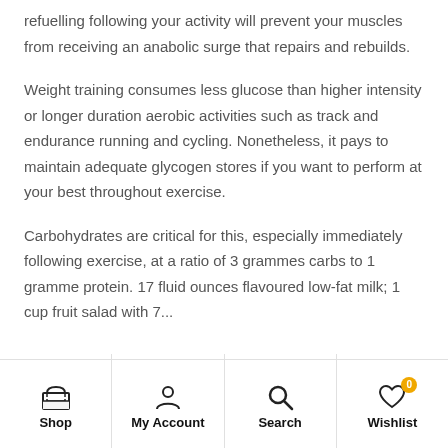refuelling following your activity will prevent your muscles from receiving an anabolic surge that repairs and rebuilds.
Weight training consumes less glucose than higher intensity or longer duration aerobic activities such as track and endurance running and cycling. Nonetheless, it pays to maintain adequate glycogen stores if you want to perform at your best throughout exercise.
Carbohydrates are critical for this, especially immediately following exercise, at a ratio of 3 grammes carbs to 1 gramme protein. 17 fluid ounces flavoured low-fat milk; 1 cup fruit salad with 7...
Shop | My Account | Search | Wishlist